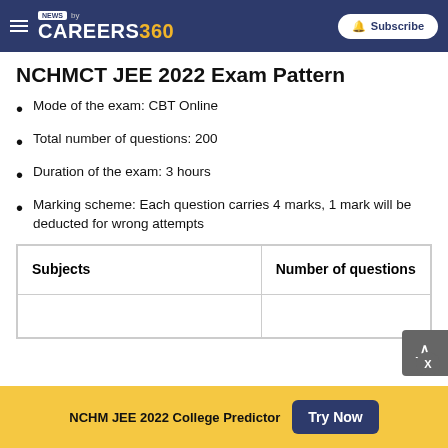NEWS by CAREERS360 | Subscribe
NCHMCT JEE 2022 Exam Pattern
Mode of the exam: CBT Online
Total number of questions: 200
Duration of the exam: 3 hours
Marking scheme: Each question carries 4 marks, 1 mark will be deducted for wrong attempts
| Subjects | Number of questions |
| --- | --- |
|  |  |
NCHM JEE 2022 College Predictor | Try Now